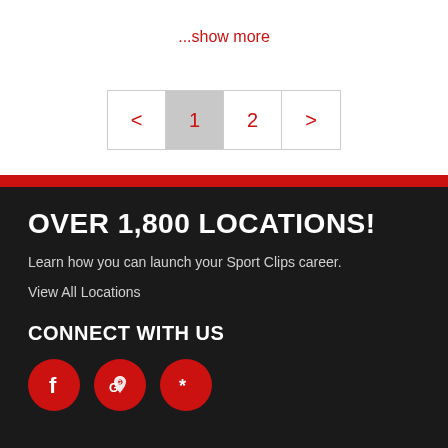...show more
< 1 2 >
OVER 1,800 LOCATIONS!
Learn how you can launch your Sport Clips career.
View All Locations
CONNECT WITH US
[Figure (illustration): Three social media icons: Facebook (f), Google Maps pin, and Yelp, each in a red circle]